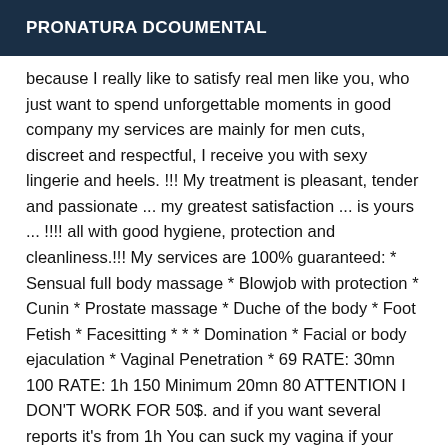PRONATURA DCOUMENTAL
because I really like to satisfy real men like you, who just want to spend unforgettable moments in good company my services are mainly for men cuts, discreet and respectful, I receive you with sexy lingerie and heels. !!! My treatment is pleasant, tender and passionate ... my greatest satisfaction ... is yours ... !!!! all with good hygiene, protection and cleanliness.!!! My services are 100% guaranteed: * Sensual full body massage * Blowjob with protection * Cunin * Prostate massage * Duche of the body * Foot Fetish * Facesitting * * * Domination * Facial or body ejaculation * Vaginal Penetration * 69 RATE: 30mn 100 RATE: 1h 150 Minimum 20mn 80 ATTENTION I DON'T WORK FOR 50$. and if you want several reports it's from 1h You can suck my vagina if your mouth is clean. I DO NOT PRACTICE ANAL! PLEASE DO NOT INSIST My prices are not negotiable. Thank you for taking the time to read my ad if you are interested, do not hesitate to call me